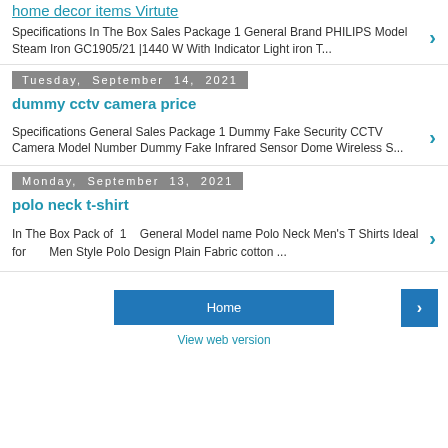home decor items Virtute
Specifications In The Box Sales Package 1 General Brand PHILIPS Model Steam Iron GC1905/21 |1440 W With Indicator Light iron T...
Tuesday, September 14, 2021
dummy cctv camera price
Specifications General Sales Package 1 Dummy Fake Security CCTV Camera Model Number Dummy Fake Infrared Sensor Dome Wireless S...
Monday, September 13, 2021
polo neck t-shirt
In The Box Pack of  1   General Model name Polo Neck Men's T Shirts Ideal for      Men Style Polo Design Plain Fabric cotton ...
Home | > | View web version